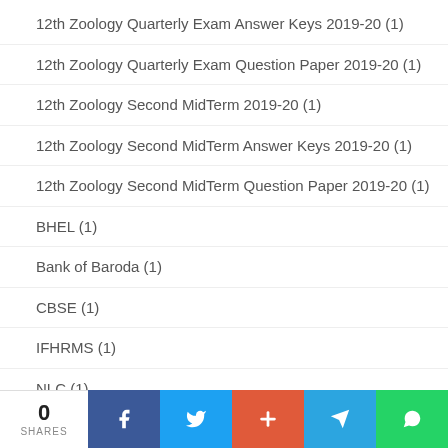12th Zoology Quarterly Exam Answer Keys 2019-20 (1)
12th Zoology Quarterly Exam Question Paper 2019-20 (1)
12th Zoology Second MidTerm 2019-20 (1)
12th Zoology Second MidTerm Answer Keys 2019-20 (1)
12th Zoology Second MidTerm Question Paper 2019-20 (1)
BHEL (1)
Bank of Baroda (1)
CBSE (1)
IFHRMS (1)
NLC (1)
Scholarship (1)